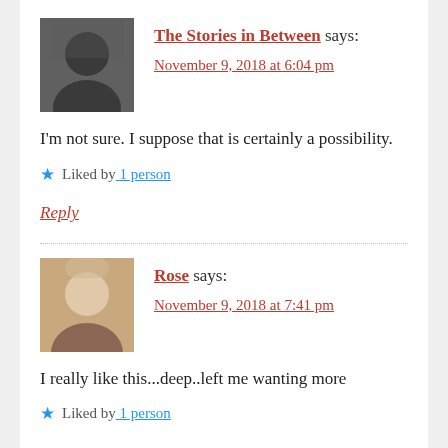[Figure (photo): Avatar photo of The Stories in Between — black and white photo of a man with long dark hair and glasses]
The Stories in Between says:
November 9, 2018 at 6:04 pm
I'm not sure. I suppose that is certainly a possibility.
Liked by 1 person
Reply
[Figure (photo): Avatar photo of Rose — photo of a young woman with blonde hair]
Rose says:
November 9, 2018 at 7:41 pm
I really like this...deep..left me wanting more
Liked by 1 person